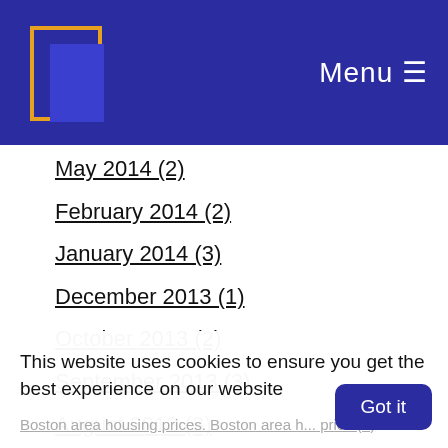Menu
May 2014 (2)
February 2014 (2)
January 2014 (3)
December 2013 (1)
October 2013 (2)
September 2013 (3)
August 2013 (3)
July 2013 (2)
This website uses cookies to ensure you get the best experience on our website
Boston area housing prices. Boston area housing price (1)